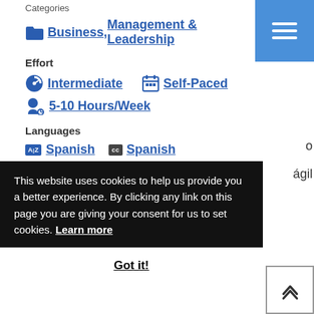Categories
Business, Management & Leadership
Effort
Intermediate   Self-Paced   5-10 Hours/Week
Languages
A|Z Spanish   CC Spanish
This website uses cookies to help us provide you a better experience. By clicking any link on this page you are giving your consent for us to set cookies. Learn more
Got it!